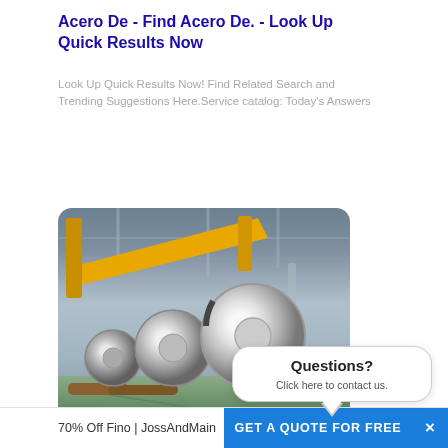Acero De - Find Acero De. - Look Up Quick Results Now
Look Up Quick Results Now! Find Related Search and Trending Suggestions Here.Service catalog: Today's Answers
[Figure (photo): Industrial warehouse with yellow overhead crane and large rolls of steel coil on the floor. A white chat bubble overlay reads 'Questions? Click here to contact us.']
70% Off Fino | JossAndMain
GET A QUOTE FOR FREE  ×